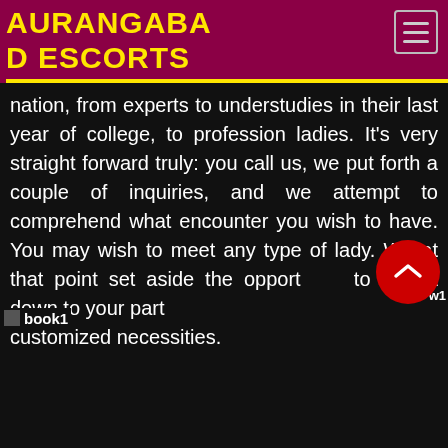AURANGABAD ESCORTS
nation, from experts to understudies in their last year of college, to profession ladies. It's very straight forward truly: you call us, we put forth a couple of inquiries, and we attempt to comprehend what encounter you wish to have. You may wish to meet any type of lady. We at that point set aside the opportunity to limit it down to your particular customized necessities.